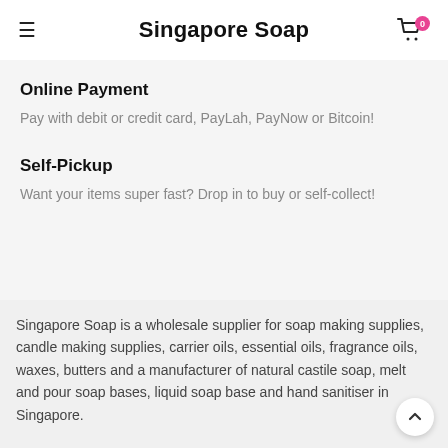Singapore Soap
Online Payment
Pay with debit or credit card, PayLah, PayNow or Bitcoin!
Self-Pickup
Want your items super fast? Drop in to buy or self-collect!
Singapore Soap is a wholesale supplier for soap making supplies, candle making supplies, carrier oils, essential oils, fragrance oils, waxes, butters and a manufacturer of natural castile soap, melt and pour soap bases, liquid soap bases and hand sanitiser in Singapore.